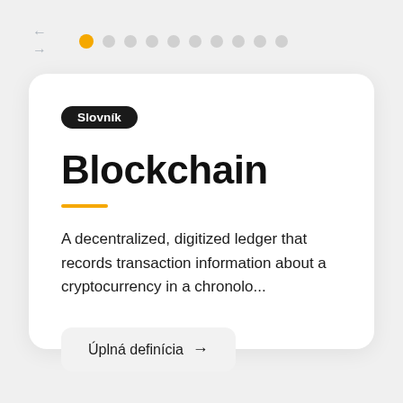← → navigation arrows and dot pagination indicators
Slovník
Blockchain
A decentralized, digitized ledger that records transaction information about a cryptocurrency in a chronolo...
Úplná definícia →